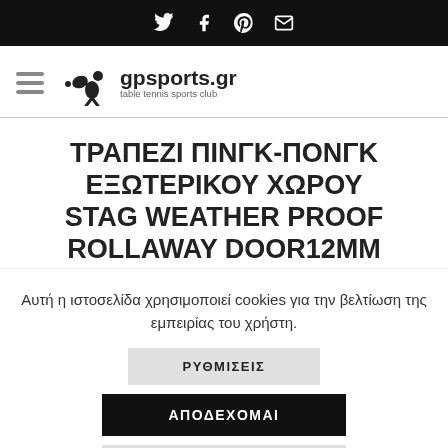Social share icons: Twitter, Facebook, Pinterest, Email
[Figure (logo): gpsports.gr table tennis sports club logo with player silhouette]
ΤΡΑΠΕΖΙ ΠΙΝΓΚ-ΠΟΝΓΚ ΕΞΩΤΕΡΙΚΟΥ ΧΩΡΟΥ STAG WEATHER PROOF ROLLAWAY DOOR12MM
Αυτή η ιστοσελίδα χρησιμοποιεί cookies για την βελτίωση της εμπειρίας του χρήστη.
ΡΥΘΜΙΣΕΙΣ
ΑΠΟΔΕΧΟΜΑΙ
ΔΕΝ ΑΠΟΔΕΧΟΜΑΙ